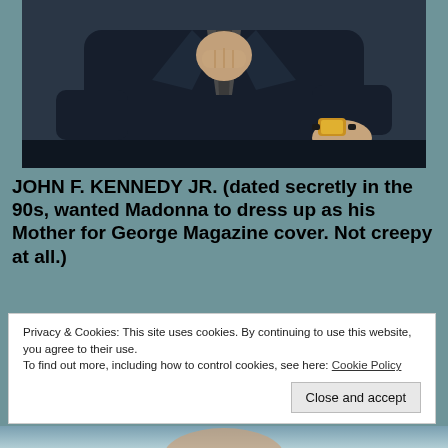[Figure (photo): Cropped photo of a man in a dark navy suit with a tie, showing his torso and hands. His right hand wears a gold watch. Dark background.]
JOHN F. KENNEDY JR. (dated secretly in the 90s, wanted Madonna to dress up as his Mother for George Magazine cover. Not creepy at all.)
Privacy & Cookies: This site uses cookies. By continuing to use this website, you agree to their use.
To find out more, including how to control cookies, see here: Cookie Policy
Close and accept
[Figure (photo): Partial photo at bottom of page showing a person, cropped.]